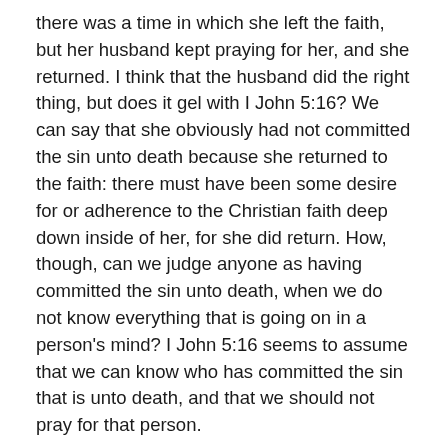there was a time in which she left the faith, but her husband kept praying for her, and she returned.  I think that the husband did the right thing, but does it gel with I John 5:16?  We can say that she obviously had not committed the sin unto death because she returned to the faith: there must have been some desire for or adherence to the Christian faith deep down inside of her, for she did return.  How, though, can we judge anyone as having committed the sin unto death, when we do not know everything that is going on in a person's mind?  I John 5:16 seems to assume that we can know who has committed the sin that is unto death, and that we should not pray for that person.
B.  There may be some kernel of wisdom in I John 5:16, assuming I am understanding it correctly.  In a Bible study that I attended in college, we were going through the